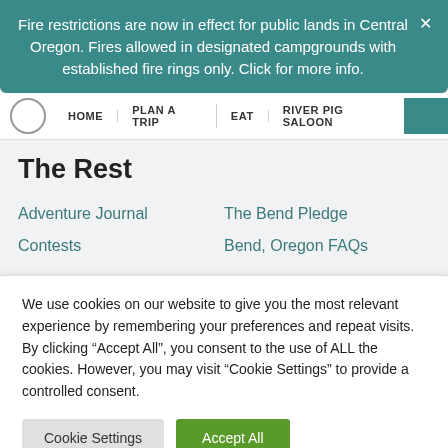Fire restrictions are now in effect for public lands in Central Oregon. Fires allowed in designated campgrounds with established fire rings only. Click for more info.
HOME | PLAN A TRIP | EAT | RIVER PIG SALOON
The Rest
Adventure Journal
The Bend Pledge
Contests
Bend, Oregon FAQs
We use cookies on our website to give you the most relevant experience by remembering your preferences and repeat visits. By clicking "Accept All", you consent to the use of ALL the cookies. However, you may visit "Cookie Settings" to provide a controlled consent.